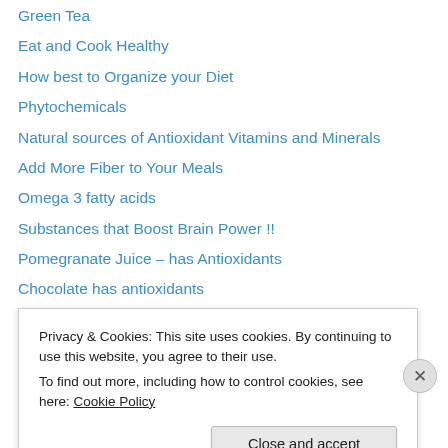Green Tea
Eat and Cook Healthy
How best to Organize your Diet
Phytochemicals
Natural sources of Antioxidant Vitamins and Minerals
Add More Fiber to Your Meals
Omega 3 fatty acids
Substances that Boost Brain Power !!
Pomegranate Juice – has Antioxidants
Chocolate has antioxidants
For a longer life~Hit 50yrs with few Risk Factors
Coronary Heart Disease in Indians
Free Radicals and Antioxidants
Atherosclerosis
Privacy & Cookies: This site uses cookies. By continuing to use this website, you agree to their use.
To find out more, including how to control cookies, see here: Cookie Policy